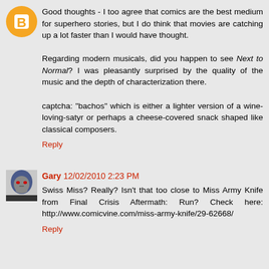Good thoughts - I too agree that comics are the best medium for superhero stories, but I do think that movies are catching up a lot faster than I would have thought.

Regarding modern musicals, did you happen to see Next to Normal? I was pleasantly surprised by the quality of the music and the depth of characterization there.

captcha: "bachos" which is either a lighter version of a wine-loving-satyr or perhaps a cheese-covered snack shaped like classical composers.
Reply
Gary 12/02/2010 2:23 PM
Swiss Miss? Really? Isn't that too close to Miss Army Knife from Final Crisis Aftermath: Run? Check here: http://www.comicvine.com/miss-army-knife/29-62668/
Reply